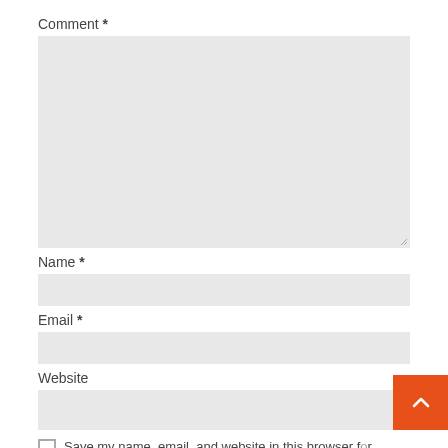Comment *
[Figure (screenshot): Large empty comment textarea input field with light gray background and resize handle at bottom right]
Name *
[Figure (screenshot): Single line name input field with light gray background]
Email *
[Figure (screenshot): Single line email input field with light gray background]
Website
[Figure (screenshot): Single line website input field with light gray background and orange back-to-top button overlapping at bottom right]
Save my name, email, and website in this browser for the next time I comment.
[Figure (screenshot): Orange submit/post comment button at bottom]